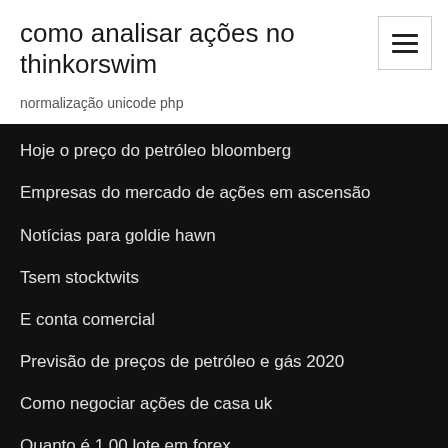como analisar ações no thinkorswim
normalização unicode php
Hoje o preço do petróleo bloomberg
Empresas do mercado de ações em ascensão
Notícias para goldie hawn
Tsem stocktwits
E conta comercial
Previsão de preços de petróleo e gás 2020
Como negociar ações de casa uk
Quanto é 1,00 lote em forex
Preço futuro de gás natural ao vivo